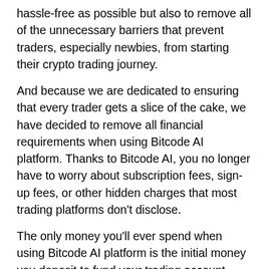hassle-free as possible but also to remove all of the unnecessary barriers that prevent traders, especially newbies, from starting their crypto trading journey.
And because we are dedicated to ensuring that every trader gets a slice of the cake, we have decided to remove all financial requirements when using Bitcode AI platform. Thanks to Bitcode AI, you no longer have to worry about subscription fees, sign-up fees, or other hidden charges that most trading platforms don't disclose.
The only money you’ll ever spend when using Bitcode AI platform is the initial money you deposit to fund your trading account.
If you want a 100% zero-fees trading platform, you'll not be disappointed to give Bitcode AI platform a try.
[Figure (screenshot): Language selector button showing US flag emoji and 'English' text on dark background]